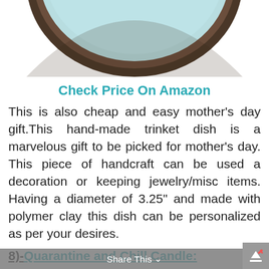[Figure (photo): Bottom portion of a round ceramic trinket dish with dark brown/bronze rim and light blue/mint interior, photographed from above on white background.]
Check Price On Amazon
This is also cheap and easy mother’s day gift.This hand-made trinket dish is a marvelous gift to be picked for mother’s day. This piece of handcraft can be used a decoration or keeping jewelry/misc items. Having a diameter of 3.25” and made with polymer clay this dish can be personalized as per your desires.
8)-Quarantine and Chill Candle:
Share This